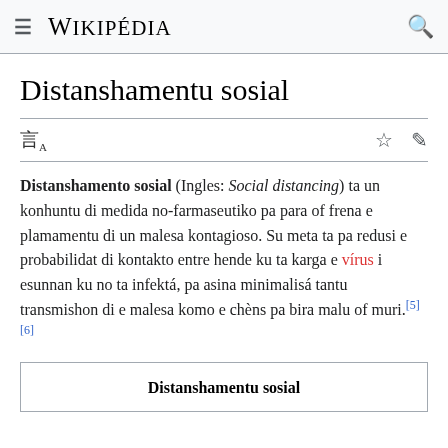≡  WIKIPÉDIA  🔍
Distanshamentu sosial
Distanshamento sosial (Ingles: Social distancing) ta un konhuntu di medida no-farmaseutiko pa para of frena e plamamentu di un malesa kontagioso. Su meta ta pa redusi e probabilidat di kontakto entre hende ku ta karga e vírus i esunnan ku no ta infektá, pa asina minimalisá tantu transmishon di e malesa komo e chèns pa bira malu of muri.[5][6]
| Distanshamentu sosial |
| --- |